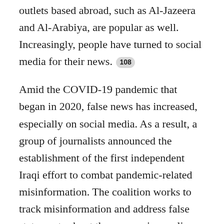outlets based abroad, such as Al-Jazeera and Al-Arabiya, are popular as well. Increasingly, people have turned to social media for their news. 108
Amid the COVID-19 pandemic that began in 2020, false news has increased, especially on social media. As a result, a group of journalists announced the establishment of the first independent Iraqi effort to combat pandemic-related misinformation. The coalition works to track misinformation and address false statements about the coronavirus online. 109 A poll showed that 65 percent of Iraqis do not trust the numbers published by the government regarding the COVID-19 pandemic. 110 TOP
Many of the most popular news sites in the Kurdistan region have ties to the KRG or powerful Kurdish political figures, and they typically promote progovernment